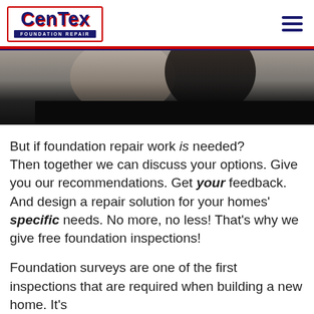[Figure (logo): CenTex Foundation Repair logo with red border, blue text, and red badge]
[Figure (photo): Partial photo showing two people, one in a patterned shirt and one in dark clothing, bottom portion fades to black]
But if foundation repair work is needed? Then together we can discuss your options. Give you our recommendations. Get your feedback. And design a repair solution for your homes' specific needs. No more, no less! That's why we give free foundation inspections!
Foundation surveys are one of the first inspections that are required when building a new home. It's